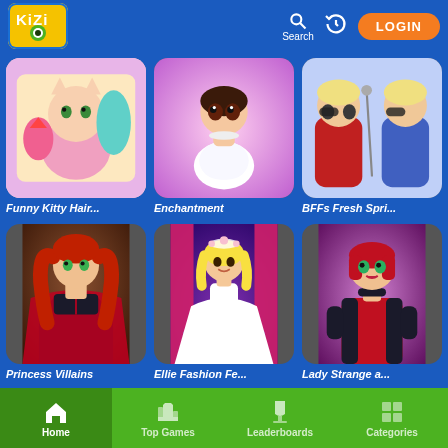[Figure (screenshot): Kizi game website header with logo, search, history icon, and LOGIN button]
[Figure (screenshot): Funny Kitty Hair game thumbnail - cartoon cat character with pink rocket]
Funny Kitty Hair...
[Figure (screenshot): Enchantment game thumbnail - cartoon girl in white dress]
Enchantment
[Figure (screenshot): BFFs Fresh Spri... game thumbnail - two stylish cartoon blonde girls]
BFFs Fresh Spri...
[Figure (screenshot): Princess Villains game thumbnail - red-haired princess in black dress]
Princess Villains
[Figure (screenshot): Ellie Fashion Fe... game thumbnail - blonde princess in white wedding dress on stage]
Ellie Fashion Fe...
[Figure (screenshot): Lady Strange a... game thumbnail - dark red-haired girl in red and black superhero suit]
Lady Strange a...
Home
Top Games
Leaderboards
Categories